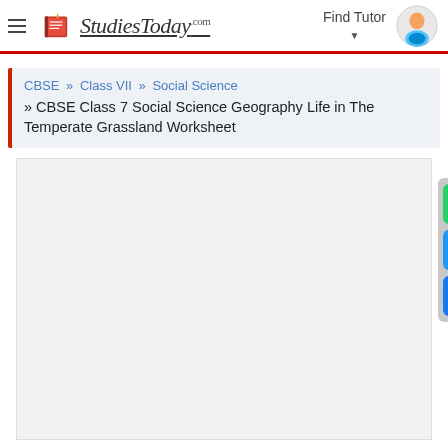StudiesToday.com — Find Tutor
CBSE » Class VII » Social Science » CBSE Class 7 Social Science Geography Life in The Temperate Grassland Worksheet
[Figure (screenshot): Empty content/ad area with social share buttons (WhatsApp, Email, Facebook) on the right side]